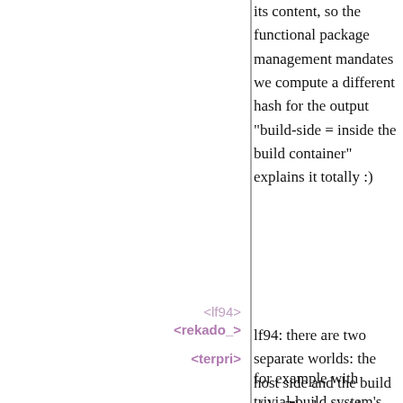its content, so the functional package management mandates we compute a different hash for the output "build-side = inside the build container" explains it totally :)
<lf94>
<rekado_>
lf94: there are two separate worlds: the host side and the build side. The host side prepares code to be run on the build side.
<terpri>
for example with trivial-build system's